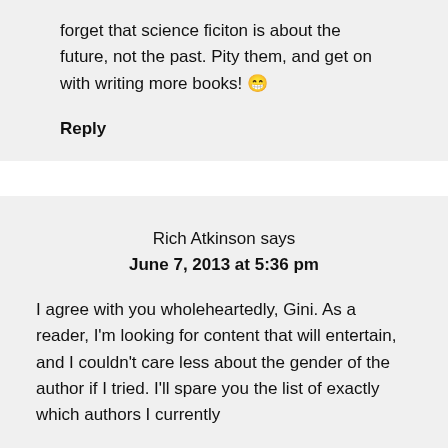forget that science ficiton is about the future, not the past. Pity them, and get on with writing more books! 😁
Reply
Rich Atkinson says
June 7, 2013 at 5:36 pm
I agree with you wholeheartedly, Gini. As a reader, I'm looking for content that will entertain, and I couldn't care less about the gender of the author if I tried. I'll spare you the list of exactly which authors I currently